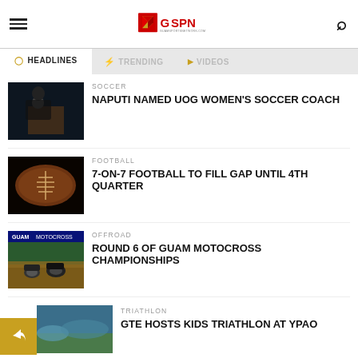GSPN - Guam Sports Network
HEADLINES | TRENDING | VIDEOS
SOCCER
FOOTBALL
OFFROAD
TRIATHLON